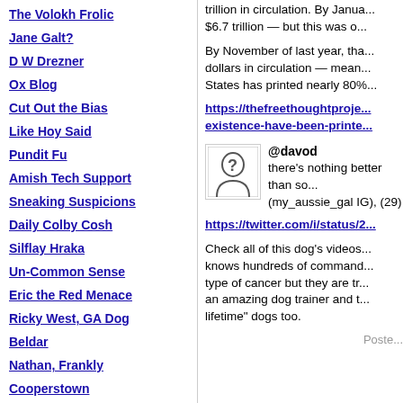The Volokh Frolic
Jane Galt?
D W Drezner
Ox Blog
Cut Out the Bias
Like Hoy Said
Pundit Fu
Amish Tech Support
Sneaking Suspicions
Daily Colby Cosh
Silflay Hraka
Un-Common Sense
Eric the Red Menace
Ricky West, GA Dog
Beldar
Nathan, Frankly
Cooperstown
A Gas, a Blog
trillion in circulation. By Janua... $6.7 trillion — but this was o...
By November of last year, tha... dollars in circulation — mean... States has printed nearly 80%...
https://thefreethoughtproje... existence-have-been-printe...
[Figure (illustration): Avatar/profile image placeholder with a question mark figure silhouette inside a square border]
@davod
there's nothing better than so... (my_aussie_gal IG), (29)
https://twitter.com/i/status/2...
Check all of this dog's videos... knows hundreds of command... type of cancer but they are tr... an amazing dog trainer and t... lifetime" dogs too.
Poste...